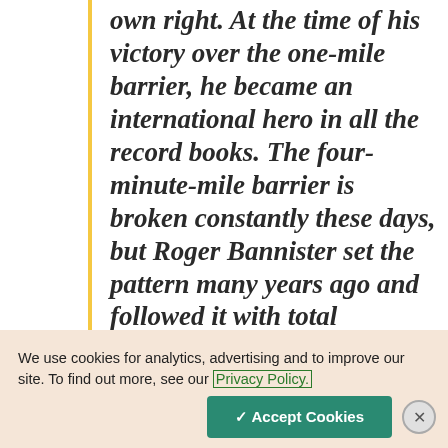own right. At the time of his victory over the one-mile barrier, he became an international hero in all the record books. The four-minute-mile barrier is broken constantly these days, but Roger Bannister set the pattern many years ago and followed it with total
We use cookies for analytics, advertising and to improve our site. To find out more, see our Privacy Policy.